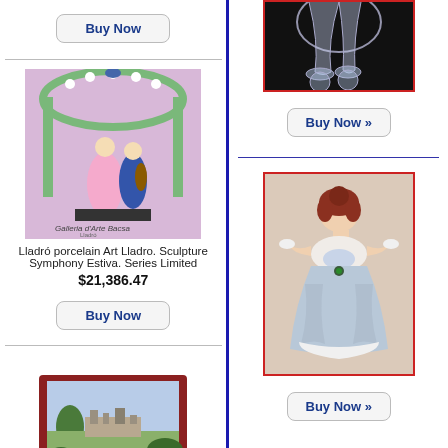[Figure (photo): Buy Now button left column top]
[Figure (photo): Lladro porcelain art sculpture with arch and figures on purple background]
Lladró porcelain Art Lladro. Sculpture Symphony Estiva. Series Limited
$21,386.47
[Figure (photo): Buy Now button]
[Figure (photo): Meissen Marcolini porcelain card game set - decorative box with landscape painting on lid]
Meissen Marcolini porcelain card game set c.1800 topographical rare plaque
[Figure (photo): Crystal glass figurine on dark background - right column top]
[Figure (photo): Buy Now button right column]
[Figure (photo): Porcelain figurine of a woman in light blue dress - right column bottom]
[Figure (photo): Buy Now button right column bottom]